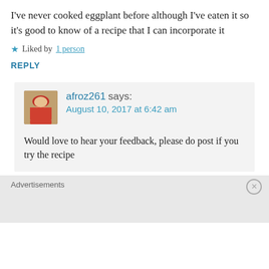I've never cooked eggplant before although I've eaten it so it's good to know of a recipe that I can incorporate it
★ Liked by 1 person
REPLY
afroz261 says: August 10, 2017 at 6:42 am
Would love to hear your feedback, please do post if you try the recipe
Advertisements